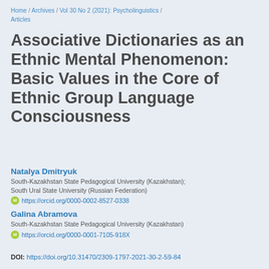Home / Archives / Vol 30 No 2 (2021): Psycholinguistics / Articles
Associative Dictionaries as an Ethnic Mental Phenomenon: Basic Values in the Core of Ethnic Group Language Consciousness
Natalya Dmitryuk
South-Kazakhstan State Pedagogical University (Kazakhstan); South Ural State University (Russian Federation)
https://orcid.org/0000-0002-8527-0338
Galina Abramova
South-Kazakhstan State Pedagogical University (Kazakhstan)
https://orcid.org/0000-0001-7105-918X
DOI: https://doi.org/10.31470/2309-1797-2021-30-2-59-84